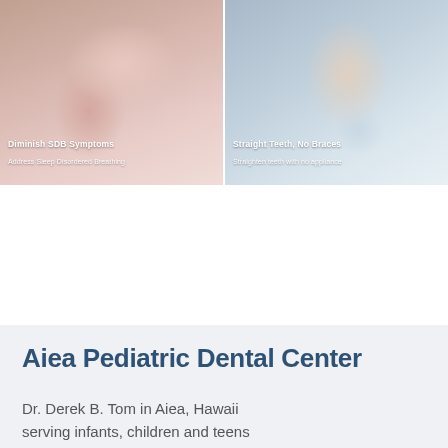[Figure (photo): Two side-by-side photos of children: left shows a young girl yawning/sleeping with text overlay 'Diminish SDB Symptoms' and 'Address Sleep Disordered Breathing'; right shows a smiling toddler boy with text overlay 'Straight Teeth, No Braces' and 'Straighten teeth with no appliance']
Aiea Pediatric Dental Center
Dr. Derek B. Tom in Aiea, Hawaii serving infants, children and teens